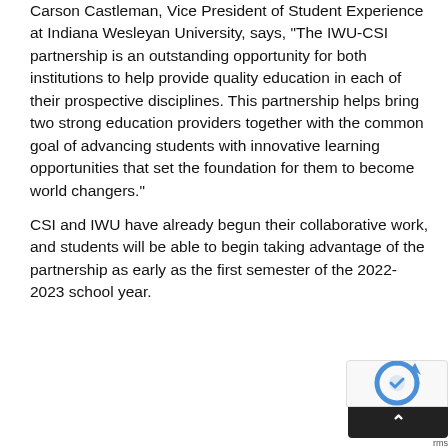Carson Castleman, Vice President of Student Experience at Indiana Wesleyan University, says, “The IWU-CSI partnership is an outstanding opportunity for both institutions to help provide quality education in each of their prospective disciplines. This partnership helps bring two strong education providers together with the common goal of advancing students with innovative learning opportunities that set the foundation for them to become world changers.”
CSI and IWU have already begun their collaborative work, and students will be able to begin taking advantage of the partnership as early as the first semester of the 2022-2023 school year.